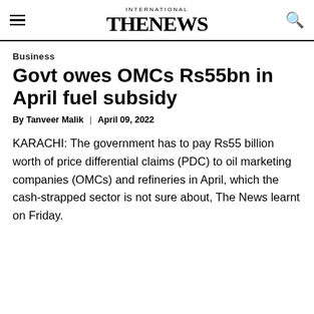INTERNATIONAL THE NEWS
Business
Govt owes OMCs Rs55bn in April fuel subsidy
By Tanveer Malik | April 09, 2022
KARACHI: The government has to pay Rs55 billion worth of price differential claims (PDC) to oil marketing companies (OMCs) and refineries in April, which the cash-strapped sector is not sure about, The News learnt on Friday.